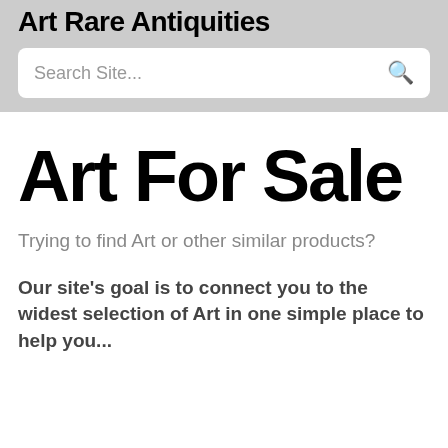Art Rare Antiquities
[Figure (other): Search site input box with placeholder text 'Search Site...' and a search icon]
Art For Sale
Trying to find Art or other similar products?
Our site's goal is to connect you to the widest selection of Art in one simple place to help you...